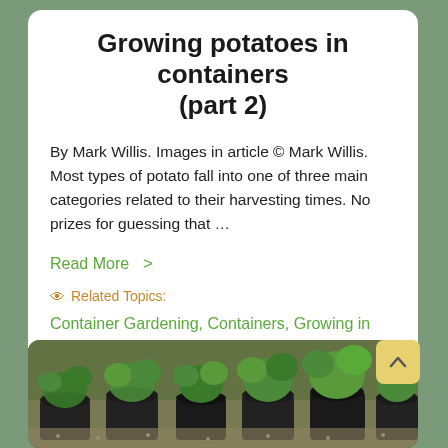Growing potatoes in containers (part 2)
By Mark Willis. Images in article © Mark Willis. Most types of potato fall into one of three main categories related to their harvesting times. No prizes for guessing that ...
Read More  >
👁 Related Topics:
Container Gardening, Containers, Growing in pots, Potatoes
[Figure (photo): Photo of multiple potato plants growing in black containers/pots on a gravel surface, showing leafy green growth at various stages]